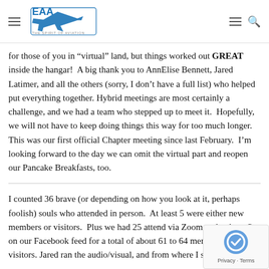EAA - The Spirit of Aviation (logo with navigation icons)
for those of you in “virtual” land, but things worked out GREAT inside the hangar!  A big thank you to AnnElise Bennett, Jared Latimer, and all the others (sorry, I don’t have a full list) who helped put everything together. Hybrid meetings are most certainly a challenge, and we had a team who stepped up to meet it.  Hopefully, we will not have to keep doing things this way for too much longer.  This was our first official Chapter meeting since last February.  I’m looking forward to the day we can omit the virtual part and reopen our Pancake Breakfasts, too.
I counted 36 brave (or depending on how you look at it, perhaps foolish) souls who attended in person.  At least 5 were either new members or visitors.  Plus we had 25 attend via Zoom and at least 3 on our Facebook feed for a total of about 61 to 64 members and visitors. Jared ran the audio/visual, and from where I sat it was